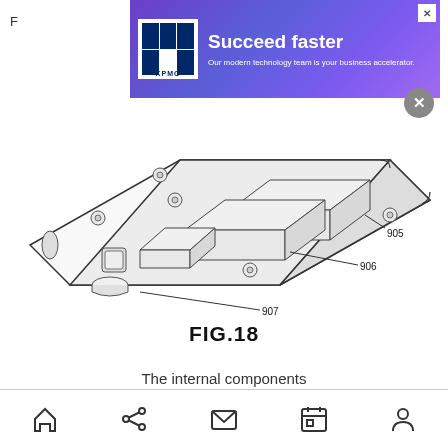F... n
[Figure (engineering-diagram): Patent engineering diagram FIG.18 showing an isometric exploded view of a device with internal components labeled 905, 906, and 907. The device appears to be a rectangular enclosure with rounded corners containing multiple internal components including cylindrical and rectangular elements.]
FIG.18
The internal components
Navigation bar with home, share, mail, calendar, and profile icons